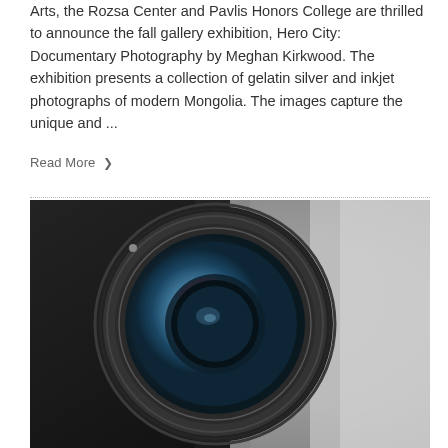Arts, the Rozsa Center and Pavlis Honors College are thrilled to announce the fall gallery exhibition, Hero City: Documentary Photography by Meghan Kirkwood. The exhibition presents a collection of gelatin silver and inkjet photographs of modern Mongolia. The images capture the unique and ...
Read More ❯
[Figure (photo): Close-up photograph of a DSLR camera lens, showing the large glass element with colorful reflections (blue, red, green) against a light grey blurred background.]